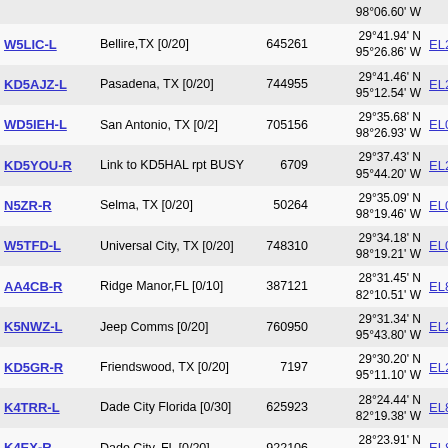| Call | Location | Node | Coordinates | Grid | Freq |
| --- | --- | --- | --- | --- | --- |
| W5LIC-L | Bellire,TX [0/20] | 645261 | 29°41.94' N
95°26.86' W | EL29gg | 73 |
| KD5AJZ-L | Pasadena, TX [0/20] | 744955 | 29°41.46' N
95°12.54' W | EL29jq | 73 |
| WD5IEH-L | San Antonio, TX [0/2] | 705156 | 29°35.68' N
98°26.93' W | EL09so | 73 |
| KD5YOU-R | Link to KD5HAL rpt BUSY | 6709 | 29°37.43' N
95°44.20' W | EL29do | 73 |
| N5ZR-R | Selma, TX [0/20] | 50264 | 29°35.09' N
98°19.46' W | EL09uo | 73 |
| W5TFD-L | Universal City, TX [0/20] | 748310 | 29°34.18' N
98°19.21' W | EL09un | 73 |
| AA4CB-R | Ridge Manor,FL [0/10] | 387121 | 28°31.45' N
82°10.51' W | EL88vm | 73 |
| K5NWZ-L | Jeep Comms [0/20] | 760950 | 29°31.34' N
95°43.80' W | EL29dm | 73 |
| KD5GR-R | Friendswood, TX [0/20] | 7197 | 29°30.20' N
95°11.10' W | EL29jm | 73 |
| K4TRR-L | Dade City Florida [0/30] | 625923 | 28°24.44' N
82°19.38' W | EL88uj | 73 |
| K4EX-R | Dade City, FL [0/20] | 922106 | 28°23.91' N
82°16.27' W | EL88uj | 73 |
| W9PQ-L | Melbourne, FL, USA [0/10] | 640453 | 28°07.82' N
80°40.70' W | EL98pd | 73 |
| W4ILJ-L | AllStar 40409 [0/10] | 163667 | 28°02.96' N
80°39.86' W | EL98qb | 73 |